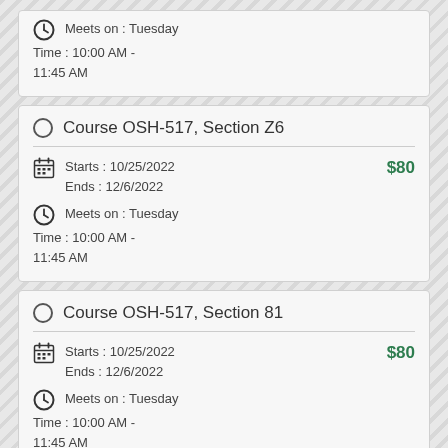Meets on : Tuesday
Time : 10:00 AM - 11:45 AM
Course OSH-517, Section Z6
Starts : 10/25/2022
Ends : 12/6/2022
$80
Meets on : Tuesday
Time : 10:00 AM - 11:45 AM
Course OSH-517, Section 81
Starts : 10/25/2022
Ends : 12/6/2022
$80
Meets on : Tuesday
Time : 10:00 AM - 11:45 AM